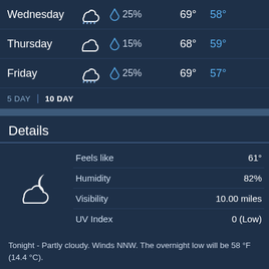| Day | Condition | Precip | High | Low |
| --- | --- | --- | --- | --- |
| Wednesday | Rain | 25% | 69° | 58° |
| Thursday | Cloudy | 15% | 68° | 59° |
| Friday | Rain | 25% | 69° | 57° |
5 DAY | 10 DAY
Details
Feels like 61°
Humidity 82%
Visibility 10.00 miles
UV Index 0 (Low)
Tonight - Partly cloudy. Winds NNW. The overnight low will be 58 °F (14.4 °C).
Today - Cloudy with a high of 71 °F (21.7 °C). Winds variable at 5 to 12 mph (8.0 to 19.3 kph).